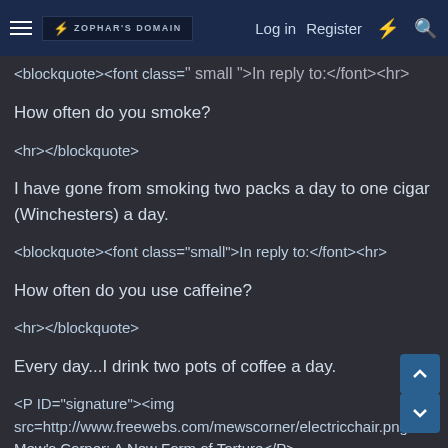Zophar's Domain — Log in   Register
<blockquote><font class="small">In reply to:</font><hr>
How often do you smoke?
<hr></blockquote>
I have gone from smoking two packs a day to one cigar (Winchesters) a day.
<blockquote><font class="small">In reply to:</font><hr>
How often do you use caffeine?
<hr></blockquote>
Every day...I drink two pots of coffee a day.
<P ID="signature"><img src=http://www.freewebs.com/mewscorner/electricchair.png> Mew's Corner: A New Form of Torture</P>